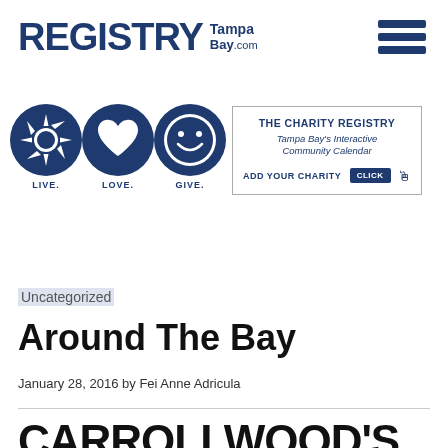REGISTRY Tampa Bay.com
[Figure (logo): Registry Tampa Bay logo with three circular icons: sun (LIVE.), heart (LOVE.), smiley face (GIVE.)]
[Figure (infographic): The Charity Registry box: 'THE CHARITY REGISTRY - Tampa Bay's Interactive Community Calendar - ADD YOUR CHARITY [CLICK]']
Uncategorized
Around The Bay
January 28, 2016 by Fei Anne Adricula
CARROLLWOOD'S